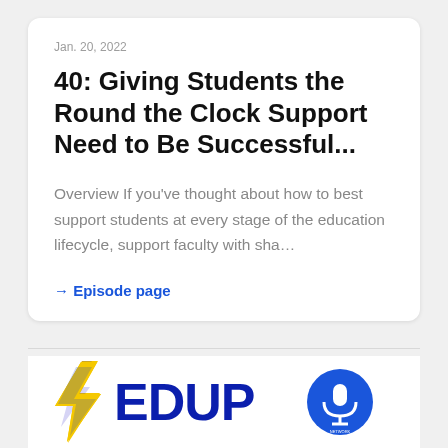Jan. 20, 2022
40: Giving Students the Round the Clock Support Need to Be Successful...
Overview If you've thought about how to best support students at every stage of the education lifecycle, support faculty with sha...
→ Episode page
[Figure (logo): EDUP podcast logo with yellow lightning bolt, blue EDUP text, and a circular network logo with microphone icon]